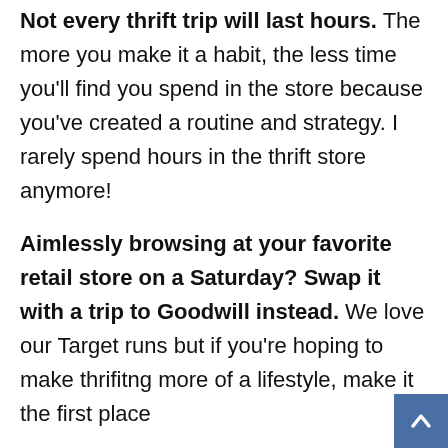Not every thrift trip will last hours. The more you make it a habit, the less time you'll find you spend in the store because you've created a routine and strategy. I rarely spend hours in the thrift store anymore!
Aimlessly browsing at your favorite retail store on a Saturday? Swap it with a trip to Goodwill instead. We love our Target runs but if you're hoping to make thrifitng more of a lifestyle, make it the first place